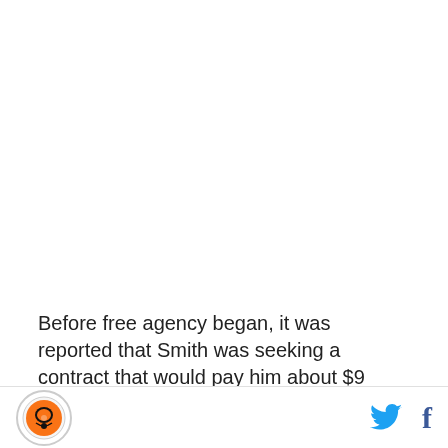[Figure (other): White/blank image placeholder area at top of page]
Before free agency began, it was reported that Smith was seeking a contract that would pay him about $9 million a year and based on the happenings of the first day of free agency, it doesn't seem as if he'll be receiving that. Four of the league's big free agent
Logo icon and social media icons (Twitter, Facebook)